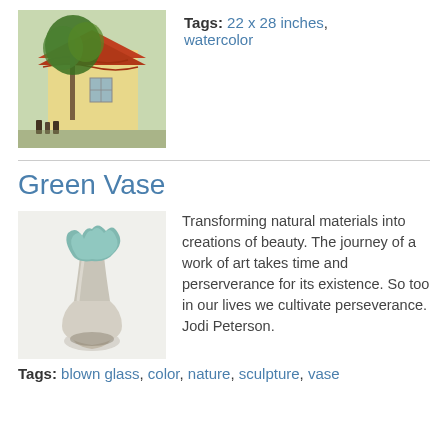[Figure (photo): Watercolor painting of a building with red tile roof and green trees]
Tags: 22 x 28 inches, watercolor
Green Vase
[Figure (photo): A green blown glass vase with ruffled top edge]
Transforming natural materials into creations of beauty. The journey of a work of art takes time and perserverance for its existence. So too in our lives we cultivate perseverance. Jodi Peterson.
Tags: blown glass, color, nature, sculpture, vase